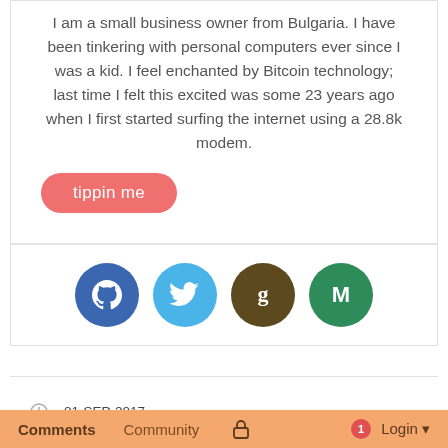I am a small business owner from Bulgaria. I have been tinkering with personal computers ever since I was a kid. I feel enchanted by Bitcoin technology; last time I felt this excited was some 23 years ago when I first started surfing the internet using a 28.8k modem.
[Figure (other): Tippin me button - a salmon/coral colored rounded button with white text 'tippin me']
[Figure (other): Row of four social media icon circles: GitHub (blue), Twitter (light blue), Goodreads (dark brown), Medium (green)]
01-SEP-2017
TOTALBUZZKIT
EARNINGS REPORTS
Comments  Community  Login